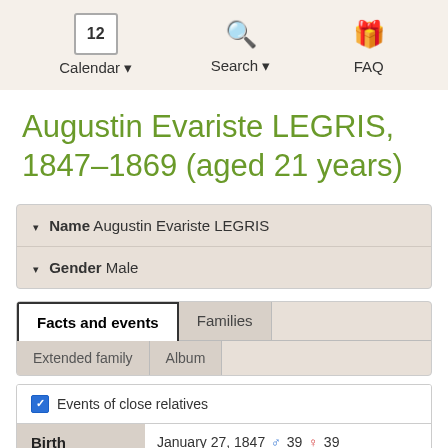Calendar · Search · FAQ
Augustin Evariste LEGRIS, 1847–1869 (aged 21 years)
Name Augustin Evariste LEGRIS
Gender Male
Facts and events | Families | Extended family | Album
Events of close relatives
|  |  |
| --- | --- |
| Birth | January 27, 1847 ♂ 39 ♀ 39
Mametz, Pas-de-Calais, France
Associate: Pierre Joseph LEGRIS (aged |